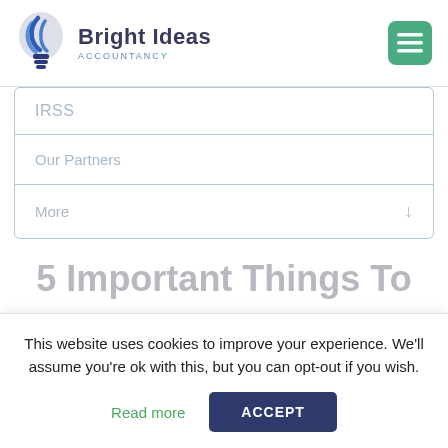[Figure (logo): Bright Ideas Accountancy logo with blue swirl lightbulb icon and company name]
IRSS
Our Partners
More ↓
5 Important Things To
This website uses cookies to improve your experience. We'll assume you're ok with this, but you can opt-out if you wish. Read more ACCEPT